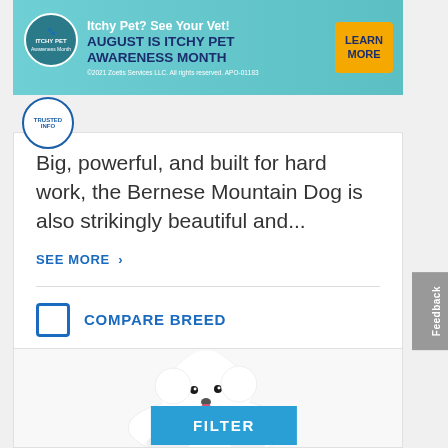[Figure (photo): Advertisement banner: Itchy Pet? See Your Vet! August is Itchy Pet Awareness Month. Learn More button. ©2021 Zoetis Services LLC. All rights reserved. APO-01183]
Big, powerful, and built for hard work, the Bernese Mountain Dog is also strikingly beautiful and...
SEE MORE ›
COMPARE BREED
[Figure (photo): A fluffy white Bichon Frise dog photographed against a white background, lying down with tongue out]
FILTER